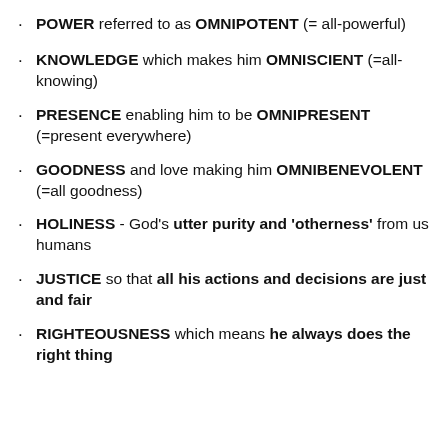POWER referred to as OMNIPOTENT (= all-powerful)
KNOWLEDGE which makes him OMNISCIENT (=all-knowing)
PRESENCE enabling him to be OMNIPRESENT (=present everywhere)
GOODNESS and love making him OMNIBENEVOLENT (=all goodness)
HOLINESS - God's utter purity and 'otherness' from us humans
JUSTICE so that all his actions and decisions are just and fair
RIGHTEOUSNESS which means he always does the right thing